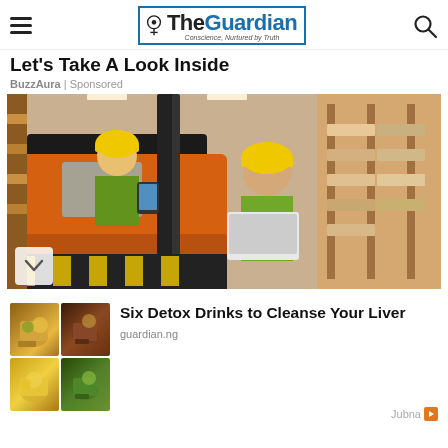The Guardian
Let's Take A Look Inside
BuzzAura | Sponsored
[Figure (photo): Two warehouse workers in yellow hard hats and high-visibility vests near an orange forklift in a warehouse; one holds a laptop, the other a smartphone]
[Figure (photo): Four-panel collage of detox drinks including herbal teas, lemon drinks, and green herbal beverages]
Six Detox Drinks to Cleanse Your Liver
guardian.ng
Jubna